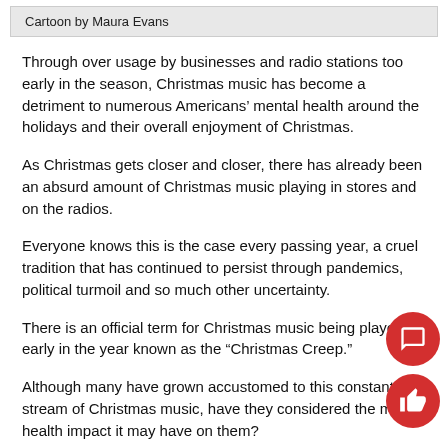Cartoon by Maura Evans
Through over usage by businesses and radio stations too early in the season, Christmas music has become a detriment to numerous Americans’ mental health around the holidays and their overall enjoyment of Christmas.
As Christmas gets closer and closer, there has already been an absurd amount of Christmas music playing in stores and on the radios.
Everyone knows this is the case every passing year, a cruel tradition that has continued to persist through pandemics, political turmoil and so much other uncertainty.
There is an official term for Christmas music being played early in the year known as the “Christmas Creep.”
Although many have grown accustomed to this constant stream of Christmas music, have they considered the mental health impact it may have on them?